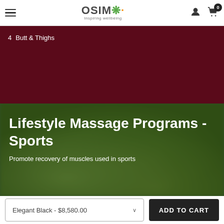OSIM Inspiring wellbeing — navigation header with hamburger menu, user icon, and cart (0)
4  Butt & Thighs
[Figure (photo): Blurred green nature/foliage background image]
Lifestyle Massage Programs - Sports
Promote recovery of muscles used in sports
Elegant Black - $8,580.00
ADD TO CART